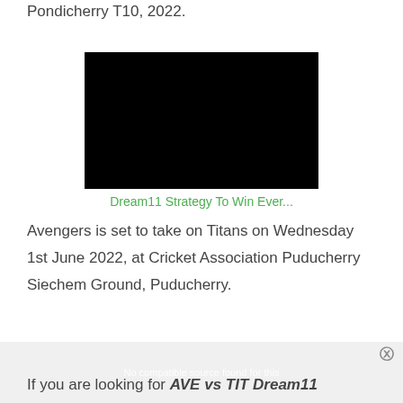Pondicherry T10, 2022.
[Figure (other): Black video thumbnail embed]
Dream11 Strategy To Win Ever...
Avengers is set to take on Titans on Wednesday 1st June 2022, at Cricket Association Puducherry Siechem Ground, Puducherry.
If you are looking for AVE vs TIT Dream11